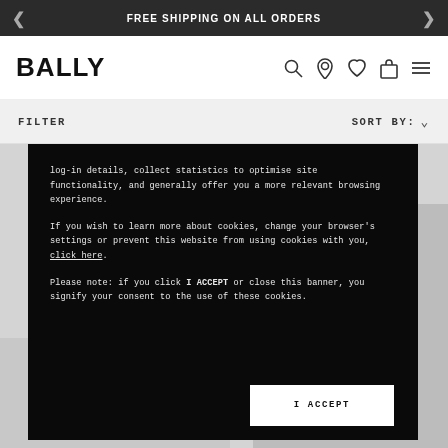FREE SHIPPING ON ALL ORDERS
[Figure (logo): BALLY brand logo in bold black text]
FILTER
SORT BY:
log-in details, collect statistics to optimise site functionality, and generally offer you a more relevant browsing experience.

If you wish to learn more about cookies, change your browser's settings or prevent this website from using cookies with you, click here.

Please note: if you click I ACCEPT or close this banner, you signify your consent to the use of these cookies.
I ACCEPT